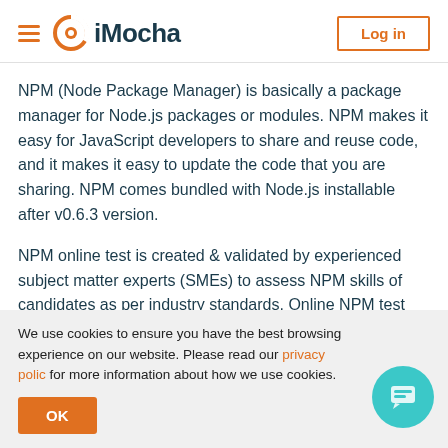iMocha
NPM (Node Package Manager) is basically a package manager for Node.js packages or modules. NPM makes it easy for JavaScript developers to share and reuse code, and it makes it easy to update the code that you are sharing. NPM comes bundled with Node.js installable after v0.6.3 version.
NPM online test is created & validated by experienced subject matter experts (SMEs) to assess NPM skills of candidates as per industry standards. Online NPM test helps recruiters and hiring managers to gauge
We use cookies to ensure you have the best browsing experience on our website. Please read our privacy policy for more information about how we use cookies.